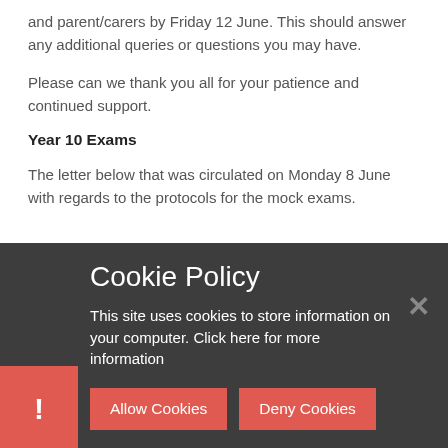and parent/carers by Friday 12 June. This should answer any additional queries or questions you may have.
Please can we thank you all for your patience and continued support.
Year 10 Exams
The letter below that was circulated on Monday 8 June with regards to the protocols for the mock exams.
Cookie Policy
This site uses cookies to store information on your computer. Click here for more information
Allow Cookies
Deny Cookies